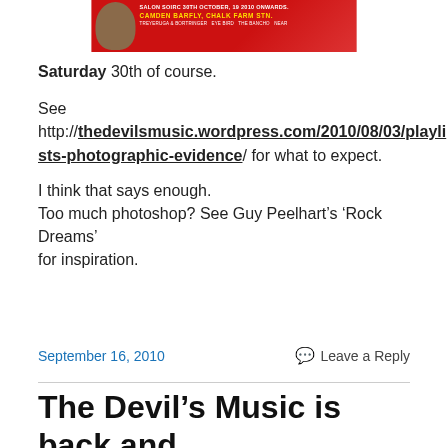[Figure (infographic): Red banner advertisement for a music event at Camden Barfly, Chalk Farm, featuring a person in hat, yellow text, and event details]
Saturday 30th of course.
See http://thedevilsmusic.wordpress.com/2010/08/03/playlists-photographic-evidence/ for what to expect.
I think that says enough.
Too much photoshop? See Guy Peelhart's ‘Rock Dreams’ for inspiration.
September 16, 2010
Leave a Reply
The Devil’s Music is back and this time it personal.